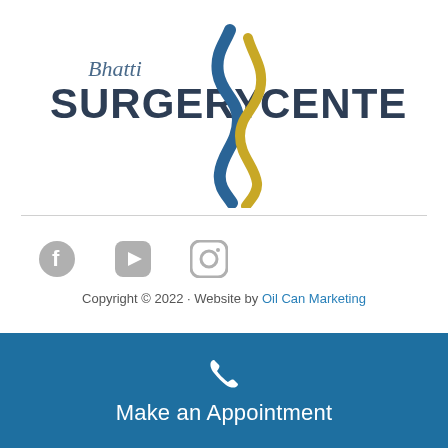[Figure (logo): Bhatti Surgery Center logo with blue and gold swirl graphic, text reading 'Bhatti Surgery Center' in dark navy with uppercase bold typography]
Copyright © 2022 · Website by Oil Can Marketing
Make an Appointment